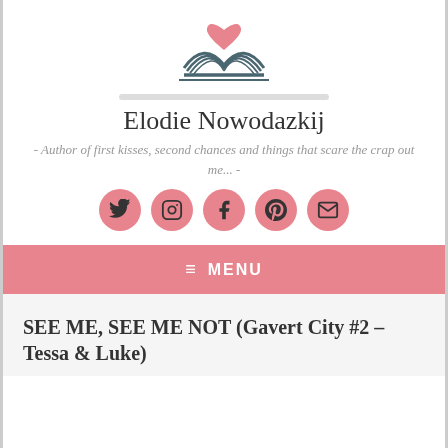[Figure (logo): Book with heart logo — open book in dark teal/gray with a pink heart above it]
Elodie Nowodazkij
- Author of first kisses, second chances and things that scare the crap out me... -
[Figure (infographic): Row of 5 pink circular social media icon buttons: Twitter, Instagram, Facebook, Pinterest, Email]
≡ MENU
SEE ME, SEE ME NOT (Gavert City #2 – Tessa & Luke)